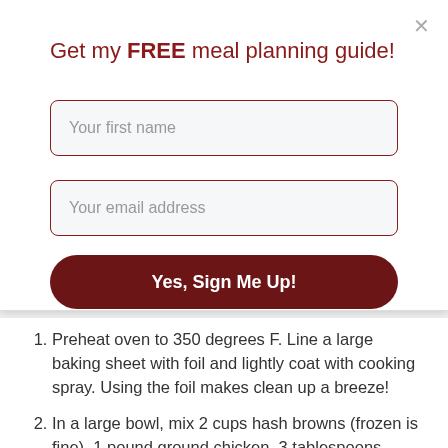Get my FREE meal planning guide!
Your first name
Your email address
Yes, Sign Me Up!
Preheat oven to 350 degrees F. Line a large baking sheet with foil and lightly coat with cooking spray. Using the foil makes clean up a breeze!
In a large bowl, mix 2 cups hash browns (frozen is fine), 1 pound ground chicken, 3 tablespoons Homemade Basil Pesto, 1/4 cup chopped roasted red pepper, 1/3 cup shredded Parmesan cheese, 1/2 teaspoon salt and 1/4 teaspoon pepper. Shape into patties and place on foil lined baking sheet in a single layer. This will yield about 8-9 patties.